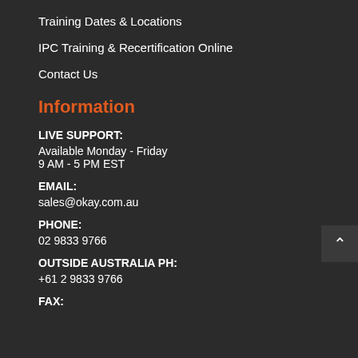Training Dates & Locations
IPC Training & Recertification Online
Contact Us
Information
LIVE SUPPORT:
Available Monday - Friday
9 AM - 5 PM EST
EMAIL:
sales@okay.com.au
PHONE:
02 9833 9766
OUTSIDE AUSTRALIA PH:
+61 2 9833 9766
FAX: